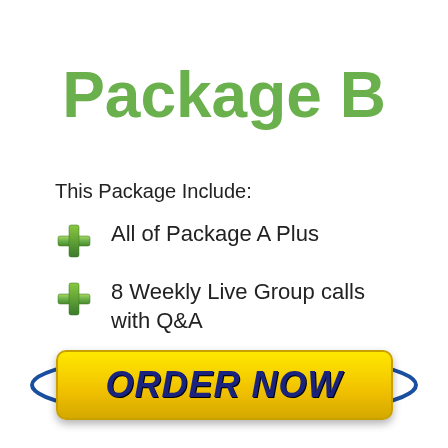Package B
This Package Include:
All of Package A Plus
8 Weekly Live Group calls with Q&A
[Figure (other): Yellow ORDER NOW button with blue oval border]